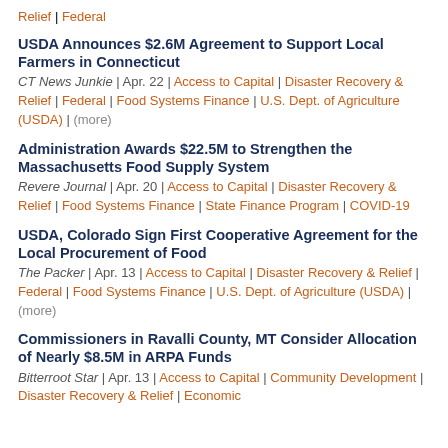Relief | Federal
USDA Announces $2.6M Agreement to Support Local Farmers in Connecticut
CT News Junkie | Apr. 22 | Access to Capital | Disaster Recovery & Relief | Federal | Food Systems Finance | U.S. Dept. of Agriculture (USDA) | (more)
Administration Awards $22.5M to Strengthen the Massachusetts Food Supply System
Revere Journal | Apr. 20 | Access to Capital | Disaster Recovery & Relief | Food Systems Finance | State Finance Program | COVID-19
USDA, Colorado Sign First Cooperative Agreement for the Local Procurement of Food
The Packer | Apr. 13 | Access to Capital | Disaster Recovery & Relief | Federal | Food Systems Finance | U.S. Dept. of Agriculture (USDA) | (more)
Commissioners in Ravalli County, MT Consider Allocation of Nearly $8.5M in ARPA Funds
Bitterroot Star | Apr. 13 | Access to Capital | Community Development | Disaster Recovery & Relief | Economic